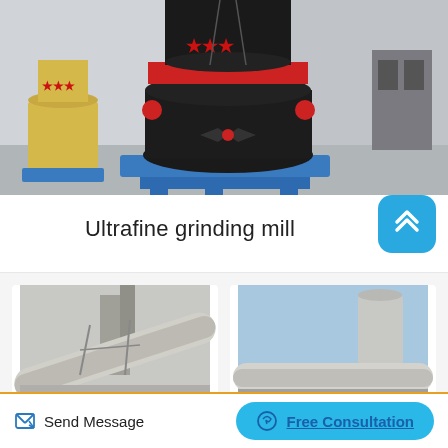[Figure (photo): Industrial ultrafine grinding mill machine in a factory — large black cylindrical grinding mill with red band and red star emblems in the center, a yellow/cream colored smaller mill to the left, all mounted on blue bases, inside an industrial warehouse]
Ultrafine grinding mill
[Figure (photo): Industrial rotary kiln or large cylindrical pipe/tube at a cement or mineral processing plant, angled view from below]
[Figure (photo): Rotary kiln or large industrial pipe with silo and support structure against a blue sky]
Send Message
Free Consultation